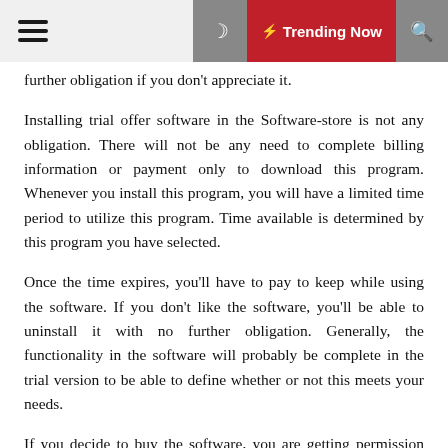☰ ☽ ⚡ Trending Now 🔍
further obligation if you don't appreciate it.
Installing trial offer software in the Software-store is not any obligation. There will not be any need to complete billing information or payment only to download this program. Whenever you install this program, you will have a limited time period to utilize this program. Time available is determined by this program you have selected.
Once the time expires, you'll have to pay to keep while using the software. If you don't like the software, you'll be able to uninstall it with no further obligation. Generally, the functionality in the software will probably be complete in the trial version to be able to define whether or not this meets your needs.
If you decide to buy the software, you are getting permission key that'll come to terms with unlock this program from the moment restraints. You just need to